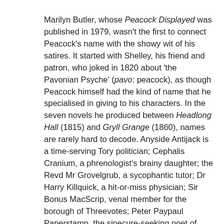Marilyn Butler, whose Peacock Displayed was published in 1979, wasn't the first to connect Peacock's name with the showy wit of his satires. It started with Shelley, his friend and patron, who joked in 1820 about 'the Pavonian Psyche' (pavo: peacock), as though Peacock himself had the kind of name that he specialised in giving to his characters. In the seven novels he produced between Headlong Hall (1815) and Gryll Grange (1860), names are rarely hard to decode. Anyside Antijack is a time-serving Tory politician; Cephalis Cranium, a phrenologist's brainy daughter; the Revd Mr Grovelgrub, a sycophantic tutor; Dr Harry Killquick, a hit-or-miss physician; Sir Bonus MacScrip, venal member for the borough of Threevotes; Peter Paypaul Paperstamp, the sinecure-seeking poet of Mainchance Villa; Sir Simon Steeltrap, scourge of poachers on his